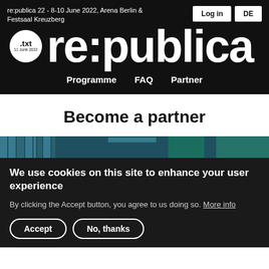re:publica 22 - 8-10 June 2022, Arena Berlin & Festsaal Kreuzberg
[Figure (logo): re:publica .txt 11 June 2022 circular logo in white on black background]
re:publica
Programme   FAQ   Partner
Become a partner
[Figure (photo): Partial photo showing a blue/teal venue or building interior]
We use cookies on this site to enhance your user experience
By clicking the Accept button, you agree to us doing so. More info
Accept   No, thanks